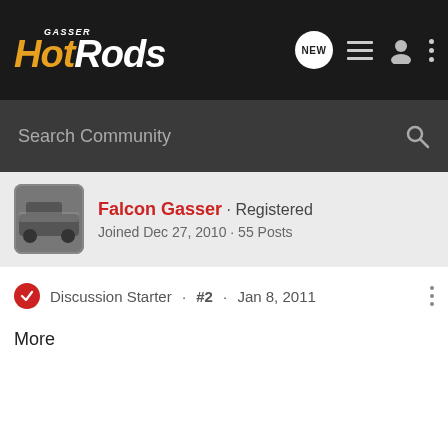Gasser HotRods — navigation bar with logo and icons
Search Community
Falcon Gasser · Registered
Joined Dec 27, 2010 · 55 Posts
Discussion Starter · #2 · Jan 8, 2011
More